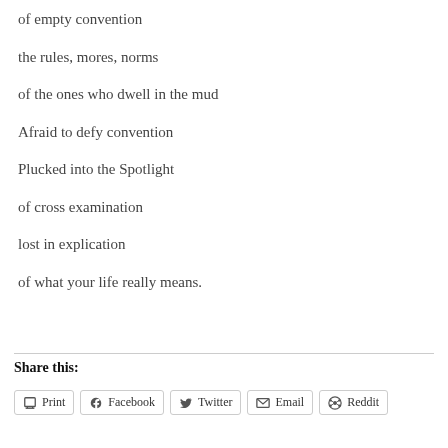of empty convention
the rules, mores, norms
of the ones who dwell in the mud
Afraid to defy convention
Plucked into the Spotlight
of cross examination
lost in explication
of what your life really means.
Share this:
Print | Facebook | Twitter | Email | Reddit